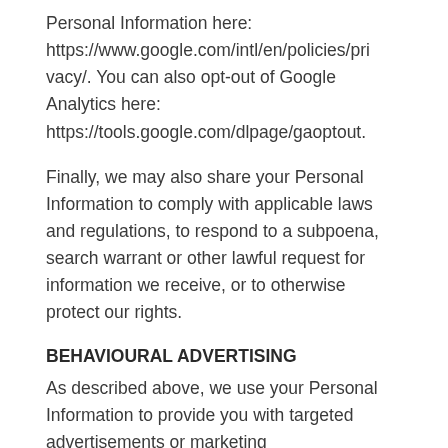Personal Information here: https://www.google.com/intl/en/policies/privacy/. You can also opt-out of Google Analytics here: https://tools.google.com/dlpage/gaoptout.
Finally, we may also share your Personal Information to comply with applicable laws and regulations, to respond to a subpoena, search warrant or other lawful request for information we receive, or to otherwise protect our rights.
BEHAVIOURAL ADVERTISING
As described above, we use your Personal Information to provide you with targeted advertisements or marketing